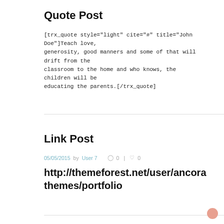Quote Post
[trx_quote style="light" cite="#" title="John Doe"]Teach love, generosity, good manners and some of that will drift from the classroom to the home and who knows, the children will be educating the parents.[/trx_quote]
Link Post
05/05/2015 by User 7  0  |  0
http://themeforest.net/user/ancorathemes/portfolio